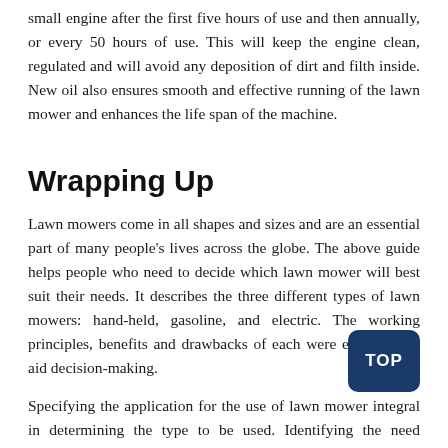small engine after the first five hours of use and then annually, or every 50 hours of use. This will keep the engine clean, regulated and will avoid any deposition of dirt and filth inside. New oil also ensures smooth and effective running of the lawn mower and enhances the life span of the machine.
Wrapping Up
Lawn mowers come in all shapes and sizes and are an essential part of many people's lives across the globe. The above guide helps people who need to decide which lawn mower will best suit their needs. It describes the three different types of lawn mowers: hand-held, gasoline, and electric. The working principles, benefits and drawbacks of each were explained to aid decision-making.
Specifying the application for the use of lawn mower integral in determining the type to be used. Identifying the need correctly can reduce the options and aid decision-